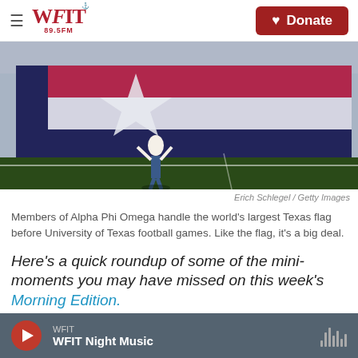WFIT 89.5FM — Donate
[Figure (photo): Person standing on football field holding up fingers in front of a massive Texas flag (red, white, blue with star), with stadium crowd in background.]
Erich Schlegel / Getty Images
Members of Alpha Phi Omega handle the world's largest Texas flag before University of Texas football games. Like the flag, it's a big deal.
Here's a quick roundup of some of the mini-moments you may have missed on this week's Morning Edition.
WFIT — WFIT Night Music